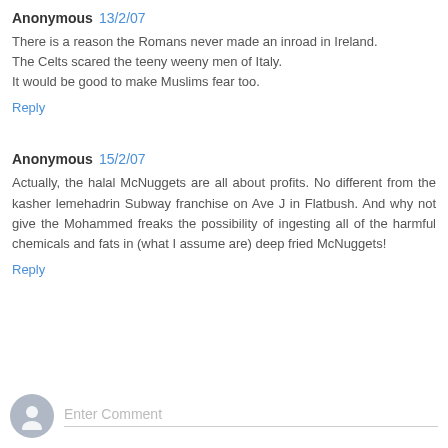Anonymous 13/2/07
There is a reason the Romans never made an inroad in Ireland.
The Celts scared the teeny weeny men of Italy.
It would be good to make Muslims fear too.
Reply
Anonymous 15/2/07
Actually, the halal McNuggets are all about profits. No different from the kasher lemehadrin Subway franchise on Ave J in Flatbush. And why not give the Mohammed freaks the possibility of ingesting all of the harmful chemicals and fats in (what I assume are) deep fried McNuggets!
Reply
Enter Comment